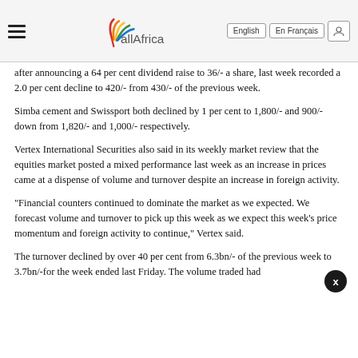allAfrica — English | En Français
after announcing a 64 per cent dividend raise to 36/- a share, last week recorded a 2.0 per cent decline to 420/- from 430/- of the previous week.
Simba cement and Swissport both declined by 1 per cent to 1,800/- and 900/- down from 1,820/- and 1,000/- respectively.
Vertex International Securities also said in its weekly market review that the equities market posted a mixed performance last week as an increase in prices came at a dispense of volume and turnover despite an increase in foreign activity.
"Financial counters continued to dominate the market as we expected. We forecast volume and turnover to pick up this week as we expect this week's price momentum and foreign activity to continue," Vertex said.
The turnover declined by over 40 per cent from 6.3bn/- of the previous week to 3.7bn/-for the week ended last Friday. The volume traded had